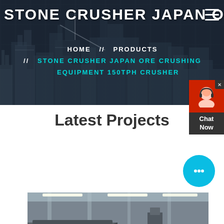STONE CRUSHER JAPAN ORE CR
HOME // PRODUCTS // STONE CRUSHER JAPAN ORE CRUSHING EQUIPMENT 150TPH CRUSHER
Latest Projects
[Figure (photo): Industrial stone crusher / ore crushing equipment machinery in a facility]